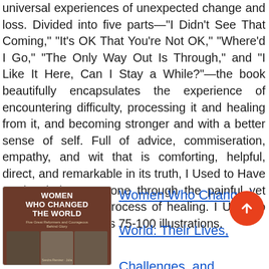universal experiences of unexpected change and loss. Divided into five parts—"I Didn't See That Coming," "It's OK That You're Not OK," "Where'd I Go," "The Only Way Out Is Through," and "I Like It Here, Can I Stay a While?"—the book beautifully encapsulates the experience of encountering difficulty, processing it and healing from it, and becoming stronger and with a better sense of self. Full of advice, commiseration, empathy, and wit that is comforting, helpful, direct, and remarkable in its truth, I Used to Have a Plan helps everyone through the painful yet ultimately uplifting process of healing. I Used to Have a Plan includes 75-100 illustrations.
[Figure (illustration): Book cover of 'Women Who Changed the World: Their Lives, Challenges, and...' showing the title in bold white text on dark brown background with photos of women below.]
Women Who Changed the World: Their Lives, Challenges, and